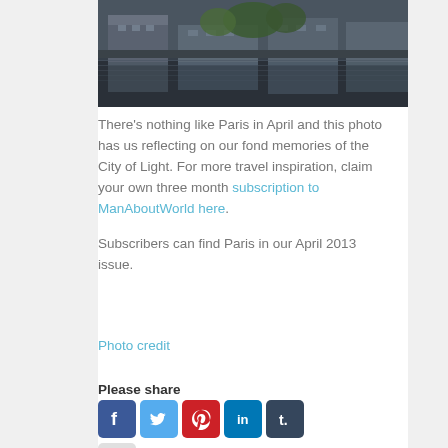[Figure (photo): Photograph of Paris architecture reflected in water, buildings and trees visible]
There's nothing like Paris in April and this photo has us reflecting on our fond memories of the City of Light. For more travel inspiration, claim your own three month subscription to ManAboutWorld here.
Subscribers can find Paris in our April 2013 issue.
Photo credit
Please share
[Figure (infographic): Social share buttons: Facebook, Twitter, Pinterest, LinkedIn, Tumblr, and Email]